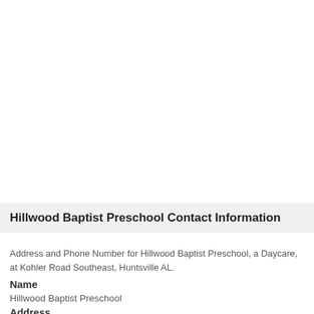Hillwood Baptist Preschool Contact Information
Address and Phone Number for Hillwood Baptist Preschool, a Daycare, at Kohler Road Southeast, Huntsville AL.
Name
Hillwood Baptist Preschool
Address